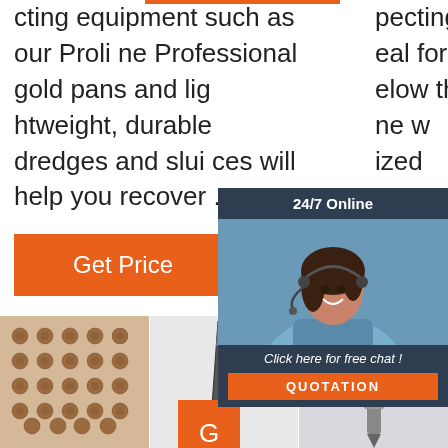cting equipment such as our Proline Professional gold pans and lightweight, durable dredges and sluices will help you recover ...
pecting tool is ideal for working below the water line w... ized... not
[Figure (other): 24/7 Online chat widget with smiling woman wearing headset, dark navy background, orange QUOTATION button]
Click here for free chat !
QUOTATION
[Figure (photo): Array of small metal drill bits or mining tips laid out on white surface]
[Figure (photo): Single dark metal chisel or cutting tool, vertical orientation]
[Figure (other): Gray metal cutting tool or drill bit with orange TOP logo with dotted arc above]